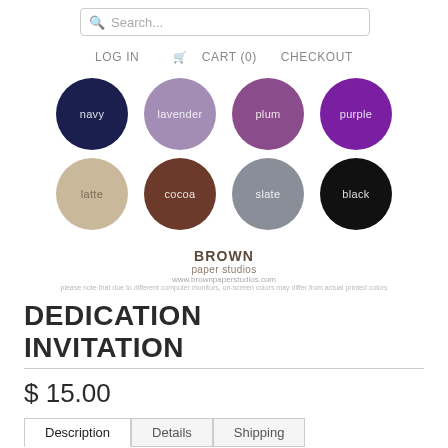[Figure (screenshot): Search bar with magnifying glass icon and 'Search...' placeholder text]
LOG IN   CART (0)   CHECKOUT
[Figure (infographic): Color swatches displayed as circles in two rows: navy, lavender, plum, purple (top row); latte, cocoa, slate, black (bottom row). Brand logo: BROWN paper studios with website and color disclaimer note.]
DEDICATION INVITATION
$ 15.00
Description   Details   Shipping
Baptism, Christening or First Communion,